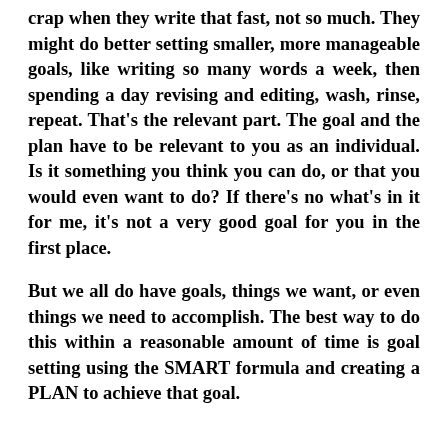crap when they write that fast, not so much. They might do better setting smaller, more manageable goals, like writing so many words a week, then spending a day revising and editing, wash, rinse, repeat. That's the relevant part. The goal and the plan have to be relevant to you as an individual. Is it something you think you can do, or that you would even want to do? If there's no what's in it for me, it's not a very good goal for you in the first place.
But we all do have goals, things we want, or even things we need to accomplish. The best way to do this within a reasonable amount of time is goal setting using the SMART formula and creating a PLAN to achieve that goal.